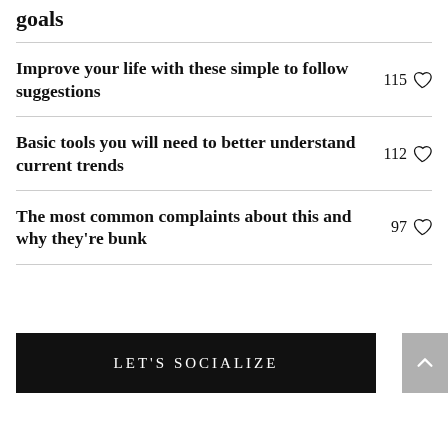goals
Improve your life with these simple to follow suggestions  115
Basic tools you will need to better understand current trends  112
The most common complaints about this and why they're bunk  97
LET'S SOCIALIZE